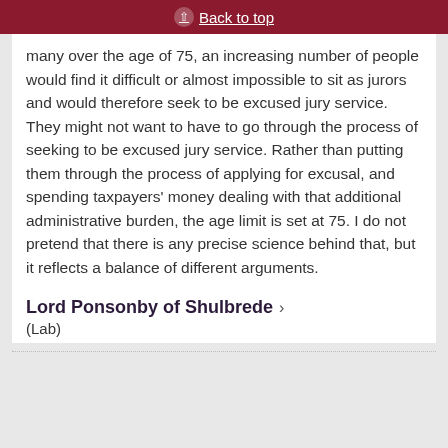Back to top
many over the age of 75, an increasing number of people would find it difficult or almost impossible to sit as jurors and would therefore seek to be excused jury service. They might not want to have to go through the process of seeking to be excused jury service. Rather than putting them through the process of applying for excusal, and spending taxpayers' money dealing with that additional administrative burden, the age limit is set at 75. I do not pretend that there is any precise science behind that, but it reflects a balance of different arguments.
Lord Ponsonby of Shulbrede
(Lab)